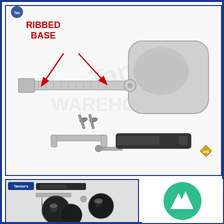[Figure (photo): Chrome car door mirror with ribbed base, shown disassembled with mounting hardware including screws, bracket, bolt, and rubber gasket strip. Two red arrows point to the ribbed base area. Watermark logo for Tannaz's Parts Warehouse visible.]
RIBBED BASE
[Figure (photo): Bottom-left inset showing close-up of two dark round mirror heads, rubber strip, and mounting bracket hardware.]
[Figure (logo): Green circle logo with two white mountain/tree arrow shapes pointing up, bottom-right corner.]